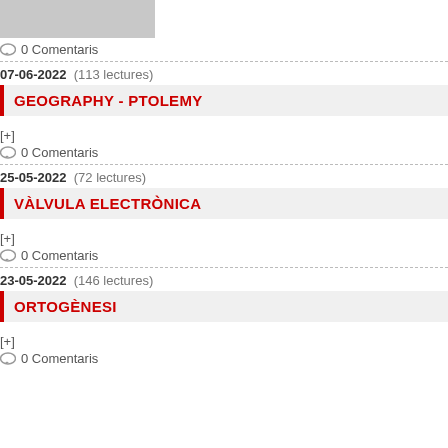[Figure (photo): Gray placeholder image thumbnail at top left]
0 Comentaris
07-06-2022 (113 lectures)
GEOGRAPHY - PTOLEMY
[+]
0 Comentaris
25-05-2022 (72 lectures)
VÀLVULA ELECTRÒNICA
[+]
0 Comentaris
23-05-2022 (146 lectures)
ORTOGÈNESI
[+]
0 Comentaris